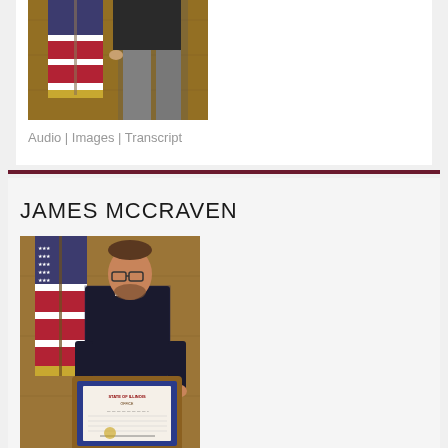[Figure (photo): Person standing in front of an American flag with gold fringe in a wood-paneled room, photo cropped at torso/legs]
Audio | Images | Transcript
JAMES MCCRAVEN
[Figure (photo): James McCraven standing in front of an American flag in a wood-paneled room, holding a framed certificate/award]